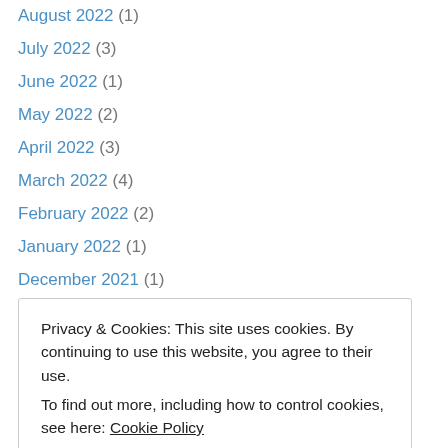August 2022 (1)
July 2022 (3)
June 2022 (1)
May 2022 (2)
April 2022 (3)
March 2022 (4)
February 2022 (2)
January 2022 (1)
December 2021 (1)
November 2021 (5)
September 2021 (1)
August 2021 (4)
July 2021 (4)
June 2021 (5)
October 2020 (1)
Privacy & Cookies: This site uses cookies. By continuing to use this website, you agree to their use. To find out more, including how to control cookies, see here: Cookie Policy